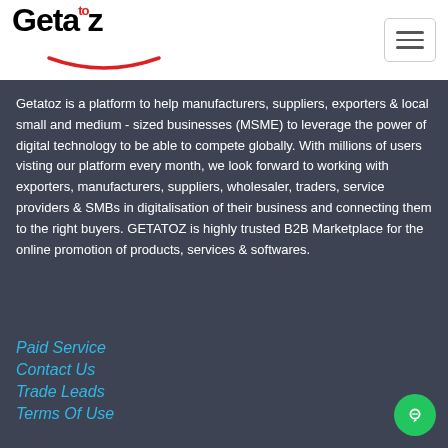[Figure (logo): Getatoz logo with red 'to' superscript and red smile arc beneath]
Getatoz is a platform to help manufacturers, suppliers, exporters & local small and medium - sized businesses (MSME) to leverage the power of digital technology to be able to compete globally. With millions of users visting our platform every month, we look forward to working with exporters, manufacturers, suppliers, wholesaler, traders, service providers & SMBs in digitalisation of their business and connecting them to the right buyers. GETATOZ is highly trusted B2B Marketplace for the online promotion of products, services & softwares.
Paid Service
Contact Us
Trade Leads
Terms Of Use